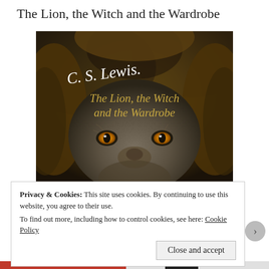The Lion, the Witch and the Wardrobe
[Figure (illustration): Book cover of 'The Lion, the Witch and the Wardrobe' by C. S. Lewis, showing a close-up of a lion's face with glowing amber eyes against a smoky dark background. The author's signature 'C. S. Lewis.' appears in white script at the top, and the book title 'The Lion, the Witch and the Wardrobe' appears in golden text in the center.]
Privacy & Cookies: This site uses cookies. By continuing to use this website, you agree to their use.
To find out more, including how to control cookies, see here: Cookie Policy
Close and accept